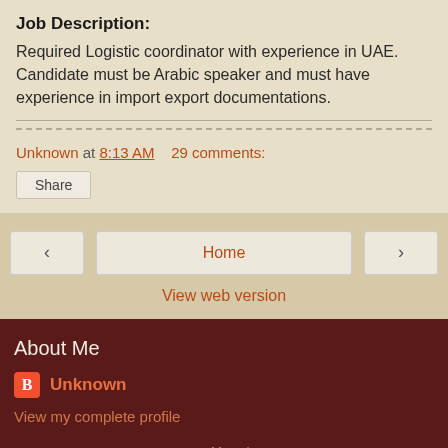Job Description:
Required Logistic coordinator with experience in UAE. Candidate must be Arabic speaker and must have experience in import export documentations.
Unknown at 8:13 AM    29 comments:
Share
Home
View web version
About Me
Unknown
View my complete profile
Powered by Blogger.